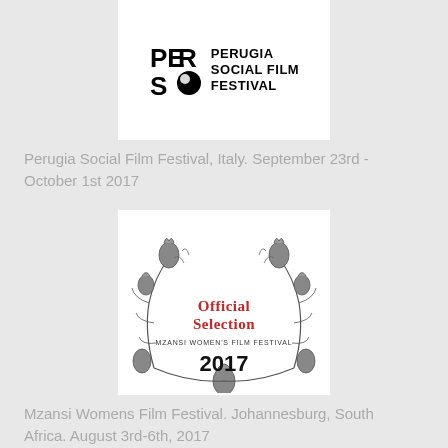[Figure (logo): Perugia Social Film Festival logo with stylized PER SO letters and text 'PERUGIA SOCIAL FILM FESTIVAL']
Perugia Social Film Festival, Italy. September 23rd - October 1st 2017
[Figure (logo): Mzansi Women's Film Festival Official Selection 2017 badge with floral wreath made of thistles]
Mzansi Womens Film Festival. Johannesburg, South Africa. August 3rd-6th, 2017